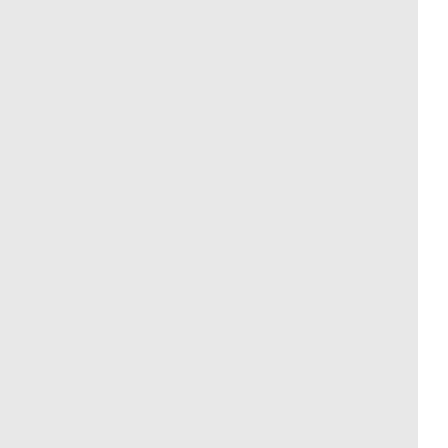neither of them speaking as Sesshoumaru's
That crass, honourable, seductive mouth.
She began to pull away, but he stopped her
"You are allowed to be selfish."
"Am I?" Her words were barely a whisper.
"Hnn."
The affirmation seemed to give her courage. let her lead, his thumb stroking the undersid moulding to his.
Then she was climbing into his lap, straddli spiking. A growl reverberated through his ch
"Kagome—" He tore his mouth away, chest
Half-lidded eyes stared down at him. "Are y bloomed in Sesshoumaru's chest before it s
"No."